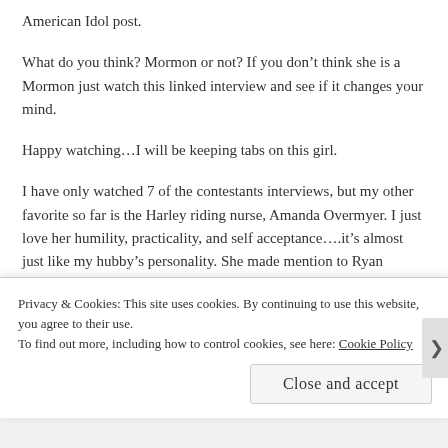American Idol post.
What do you think? Mormon or not? If you don't think she is a Mormon just watch this linked interview and see if it changes your mind.
Happy watching…I will be keeping tabs on this girl.
I have only watched 7 of the contestants interviews, but my other favorite so far is the Harley riding nurse, Amanda Overmyer. I just love her humility, practicality, and self acceptance….it's almost just like my hubby's personality. She made mention to Ryan Seacrest always giving her a hard time because she is never excited. Sometimes I tell my hubby to act just a little more excited also, but if I am totally
Privacy & Cookies: This site uses cookies. By continuing to use this website, you agree to their use.
To find out more, including how to control cookies, see here: Cookie Policy
Close and accept